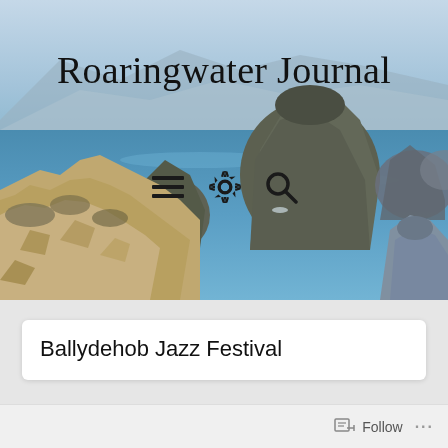[Figure (photo): Coastal landscape photograph showing rocky islands and headlands in blue ocean water with mountains and sky in background — header image for Roaringwater Journal website]
Roaringwater Journal
[Figure (screenshot): Toolbar with hamburger menu icon, settings gear icon, and search magnifier icon]
Ballydehob Jazz Festival
Follow ...